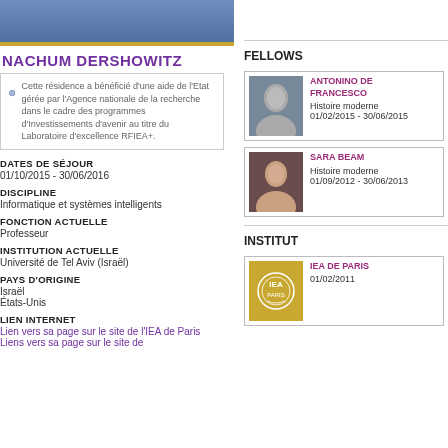[Figure (photo): Top portion of a person wearing a blue shirt, cropped photo strip]
NACHUM DERSHOWITZ
Cette résidence a bénéficié d'une aide de l'Etat gérée par l'Agence nationale de la recherche dans le cadre des programmes d'Investissements d'avenir au titre du Laboratoire d'excellence RFIEA+.
DATES DE SÉJOUR
01/10/2015 - 30/06/2016
DISCIPLINE
Informatique et systèmes intelligents
FONCTION ACTUELLE
Professeur
INSTITUTION ACTUELLE
Université de Tel Aviv (Israël)
PAYS D'ORIGINE
Israël
États-Unis
LIEN INTERNET
Lien vers sa page sur le site de l'IEA de Paris
Liens vers sa page sur le site de
FELLOWS
[Figure (photo): Photo of Antonino De Francesco, older man in suit]
ANTONINO DE FRANCESCO
Histoire moderne
01/02/2015 - 30/06/2015
[Figure (photo): Photo of Sara Beam, young woman]
SARA BEAM
Histoire moderne
01/09/2012 - 30/06/2013
INSTITUT
[Figure (logo): IEA de Paris gold logo with circular emblem]
IEA DE PARIS
01/02/2011